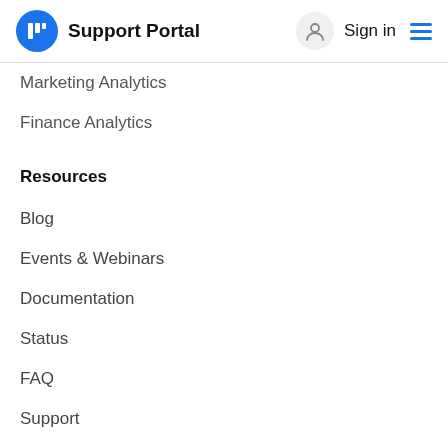Support Portal  Sign in
Marketing Analytics
Finance Analytics
Resources
Blog
Events & Webinars
Documentation
Status
FAQ
Support
Company
News & Press Kit